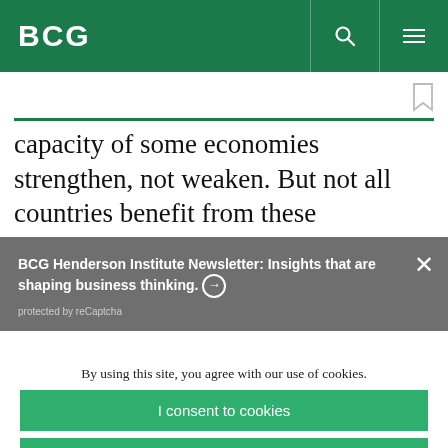BCG
capacity of some economies strengthen, not weaken. But not all countries benefit from these
BCG Henderson Institute Newsletter: Insights that are shaping business thinking. → protected by reCaptcha
By using this site, you agree with our use of cookies.
I consent to cookies
Want to know more?
Read our Cookie Policy